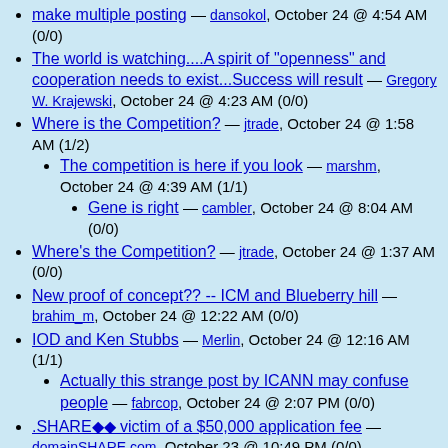make multiple posting — dansokol, October 24 @ 4:54 AM (0/0)
The world is watching....A spirit of "openness" and cooperation needs to exist...Success will result — Gregory W. Krajewski, October 24 @ 4:23 AM (0/0)
Where is the Competition? — jtrade, October 24 @ 1:58 AM (1/2)
The competition is here if you look — marshm, October 24 @ 4:39 AM (1/1)
Gene is right — cambler, October 24 @ 8:04 AM (0/0)
Where's the Competition? — jtrade, October 24 @ 1:37 AM (0/0)
New proof of concept?? -- ICM and Blueberry hill — brahim_m, October 24 @ 12:22 AM (0/0)
IOD and Ken Stubbs — Merlin, October 24 @ 12:16 AM (1/1)
Actually this strange post by ICANN may confuse people — fabrcop, October 24 @ 2:07 PM (0/0)
.SHARE♦♦ victim of a $50,000 application fee — domainSHARE.com, October 23 @ 10:49 PM (0/0)
ICANN - please correct the dead link — friedrich, October 23 @ 10:25 PM (1/1)
"General Comments" access — PHXbird, October 24 @ 2:36 PM (0/0)